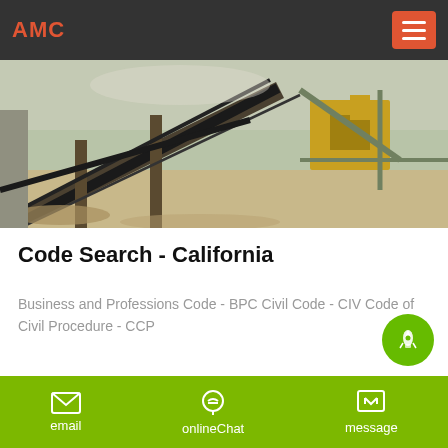AMC
[Figure (photo): Industrial machinery/conveyor belt equipment at a construction or mining site, outdoor setting.]
Code Search - California
Business and Professions Code - BPC Civil Code - CIV Code of Civil Procedure - CCP
email   onlineChat   message